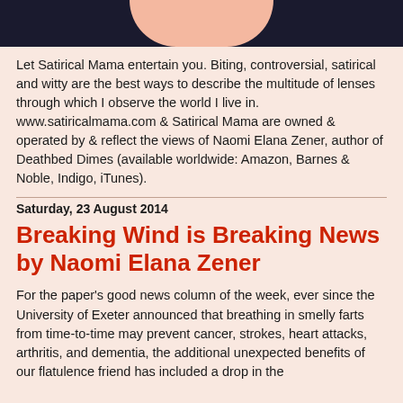[Figure (photo): Dark header banner with a pink/peach face silhouette in the center against a dark navy background]
Let Satirical Mama entertain you. Biting, controversial, satirical and witty are the best ways to describe the multitude of lenses through which I observe the world I live in. www.satiricalmama.com & Satirical Mama are owned & operated by & reflect the views of Naomi Elana Zener, author of Deathbed Dimes (available worldwide: Amazon, Barnes & Noble, Indigo, iTunes).
Saturday, 23 August 2014
Breaking Wind is Breaking News by Naomi Elana Zener
For the paper's good news column of the week, ever since the University of Exeter announced that breathing in smelly farts from time-to-time may prevent cancer, strokes, heart attacks, arthritis, and dementia, the additional unexpected benefits of our flatulence friend has included a drop in the